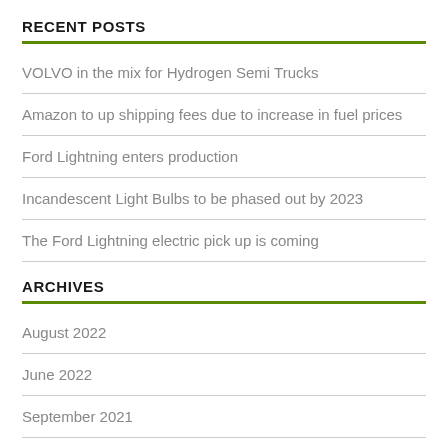RECENT POSTS
VOLVO in the mix for Hydrogen Semi Trucks
Amazon to up shipping fees due to increase in fuel prices
Ford Lightning enters production
Incandescent Light Bulbs to be phased out by 2023
The Ford Lightning electric pick up is coming
ARCHIVES
August 2022
June 2022
September 2021